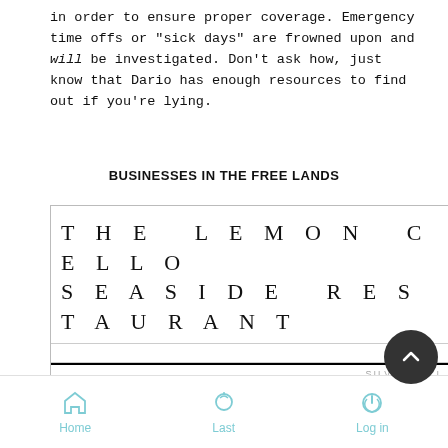in order to ensure proper coverage. Emergency time offs or "sick days" are frowned upon and will be investigated. Don't ask how, just know that Dario has enough resources to find out if you're lying.
BUSINESSES IN THE FREE LANDS
THE LEMON CELLO SEASIDE RESTAURANT
SILVERBAY I
[Figure (photo): Dark background with a glowing golden cello/musical note neon sign]
The name of this restaurant itself extends a fa
Home   Last   Log in